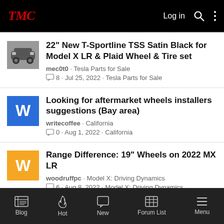TMC · Log in
22" New T-Sportline TSS Satin Black for Model X LR & Plaid Wheel & Tire set · mec0t0 · Tesla Parts for Sale · 8 · Jul 25, 2022 · Tesla Parts for Sale
Looking for aftermarket wheels installers suggestions (Bay area) · writecoffee · California · 0 · Aug 1, 2022 · California
Range Difference: 19" Wheels on 2022 MX LR · woodruffpc · Model X: Driving Dynamics · 6 · Aug 8, 2022 · Model X: Driving Dynamics
Blog · Hot · New · Forum List · Menu